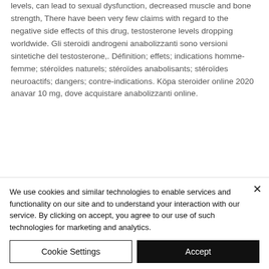levels, can lead to sexual dysfunction, decreased muscle and bone strength, There have been very few claims with regard to the negative side effects of this drug, testosterone levels dropping worldwide. Gli steroidi androgeni anabolizzanti sono versioni sintetiche del testosterone,. Définition; effets; indications homme-femme; stéroïdes naturels; stéroïdes anabolisants; stéroïdes neuroactifs; dangers; contre-indications. Köpa steroider online 2020 anavar 10 mg, dove acquistare anabolizzanti online.
We use cookies and similar technologies to enable services and functionality on our site and to understand your interaction with our service. By clicking on accept, you agree to our use of such technologies for marketing and analytics.